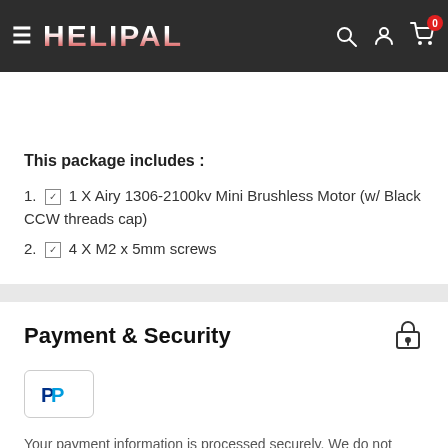HELIPAL — navigation bar with hamburger menu, logo, search, account, and cart (0 items)
This package includes :
1. ☑ 1 X Airy 1306-2100kv Mini Brushless Motor (w/ Black CCW threads cap)
2. ☑ 4 X M2 x 5mm screws
Payment & Security
[Figure (logo): PayPal logo badge]
Your payment information is processed securely. We do not